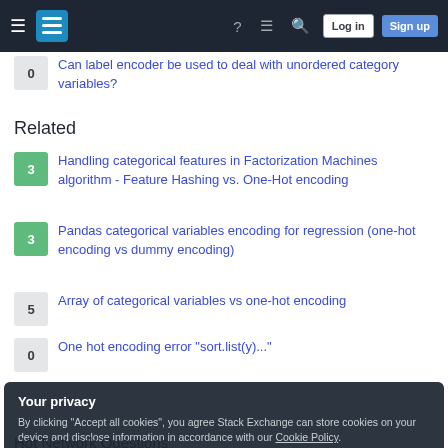Stack Exchange navigation bar with Log in and Sign up buttons
0 — Can label encoder be used to deal with unordered category variables?
Related
3 — Handling categorical features in Factorization Machines algorithm - Feature Hashing vs. One-Hot encoding
3 — Pandas categorical variables encoding for regression (one-hot encoding vs dummy encoding)
5 — Array of categorical variables vs one-hot encoding
0 — One hot encoding error "sort.list(y)..."
Your privacy
By clicking "Accept all cookies", you agree Stack Exchange can store cookies on your device and disclose information in accordance with our Cookie Policy.
Accept all cookies   Customize settings
Hot Network Questions